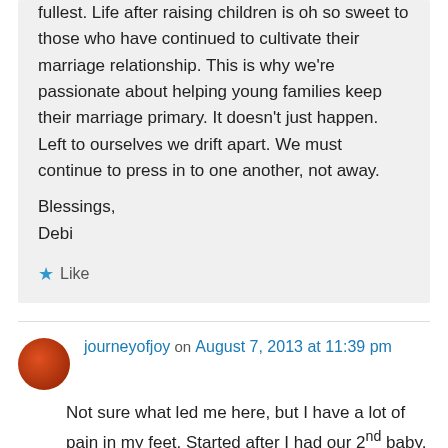fullest. Life after raising children is oh so sweet to those who have continued to cultivate their marriage relationship. This is why we're passionate about helping young families keep their marriage primary. It doesn't just happen. Left to ourselves we drift apart. We must continue to press in to one another, not away.

Blessings,
Debi
Like
journeyofjoy on August 7, 2013 at 11:39 pm
Not sure what led me here, but I have a lot of pain in my feet. Started after I had our 2nd baby.